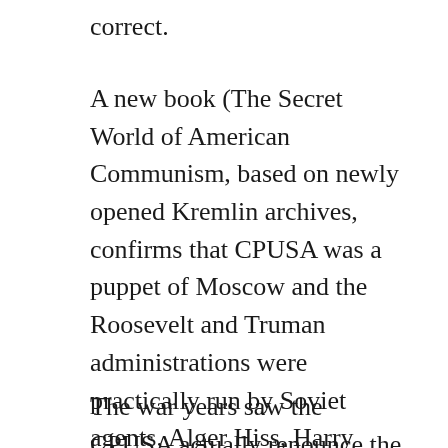correct.
A new book (The Secret World of American Communism, based on newly opened Kremlin archives, confirms that CPUSA was a puppet of Moscow and the Roosevelt and Truman administrations were practically run by Soviet agents, Alger Hiss, Harry Hopkins and Harry Dexter White to name a few.
The war years saw the CPUSA actually renounce the class struggle